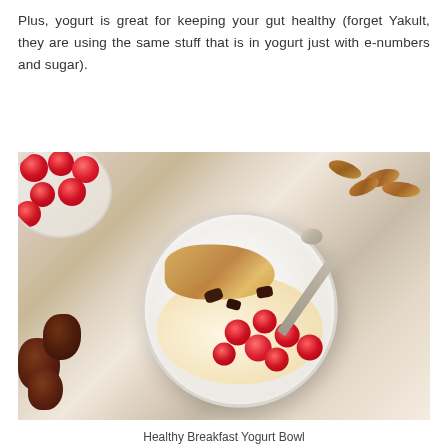Plus, yogurt is great for keeping your gut healthy (forget Yakult, they are using the same stuff that is in yogurt just with e-numbers and sugar).
[Figure (photo): Overhead photo of a healthy breakfast yogurt bowl topped with granola, raspberries, dark chocolate pieces, and an almond, with scattered almonds and dates on a marble surface, and a bowl of raspberries in the top left corner.]
Healthy Breakfast Yogurt Bowl